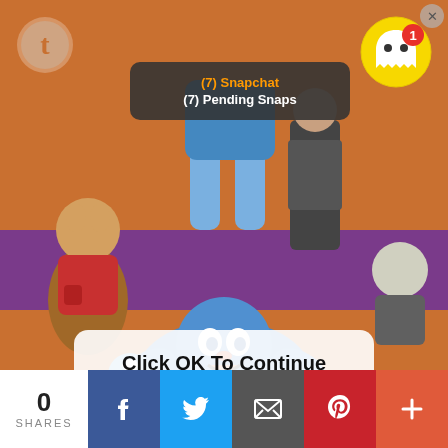[Figure (screenshot): Screenshot of a mobile device showing a cartoon illustration background with animated characters, a Snapchat notification popup, a Tumblr icon, and a dialog box overlay reading 'Click OK To Continue' with an OK button.]
(7) Snapchat
(7) Pending Snaps
Click OK To Continue
OK
0
SHARES